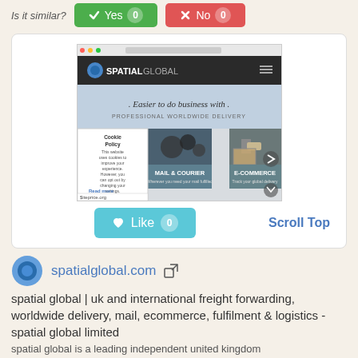Is it similar? Yes 0 No 0
[Figure (screenshot): Screenshot of spatialglobal.com website showing the Spatial Global logo, tagline 'Easier to do business with', 'PROFESSIONAL WORLDWIDE DELIVERY', and sections for Mail & Courier, E-Commerce, with a Cookie Policy popup overlay and siteprice.org watermark]
Like 0
Scroll Top
spatialglobal.com
spatial global | uk and international freight forwarding, worldwide delivery, mail, ecommerce, fulfilment & logistics - spatial global limited
spatial global is a leading independent united kingdom